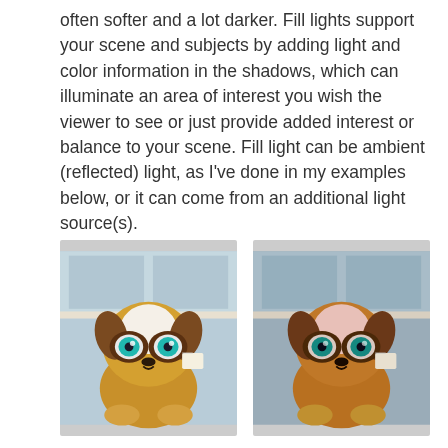often softer and a lot darker. Fill lights support your scene and subjects by adding light and color information in the shadows, which can illuminate an area of interest you wish the viewer to see or just provide added interest or balance to your scene. Fill light can be ambient (reflected) light, as I've done in my examples below, or it can come from an additional light source(s).
[Figure (photo): A stuffed toy dog (Beanie Boo style) with large teal glittery eyes, brown and white fur, photographed in good lighting against a window background.]
[Figure (photo): The same stuffed toy dog photographed with darker, warmer fill lighting showing more shadow and a pinkish tint, window visible in background.]